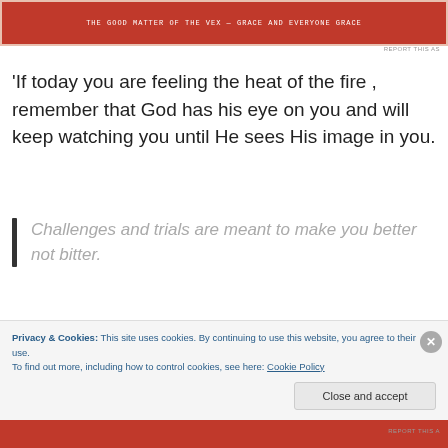[Figure (other): Red banner image at top of page with white pixel-style text]
REPORT THIS AS
'If today you are feeling the heat of the fire , remember that God has his eye on you and will keep watching you until He sees His image in you.
Challenges and trials are meant to make you better not bitter.
Someone needs to know that God is watching over them. And, whatever he/she is going through will
Privacy & Cookies: This site uses cookies. By continuing to use this website, you agree to their use.
To find out more, including how to control cookies, see here: Cookie Policy
Close and accept